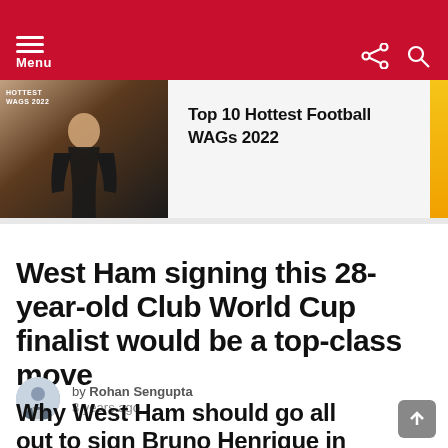Menu
[Figure (photo): Promotional banner showing a fitness/sports woman with text 'HOTTEST WAGS 2022', with carousel title 'Top 10 Hottest Football WAGs 2022']
West Ham signing this 28-year-old Club World Cup finalist would be a top-class move
by Rohan Sengupta
3 years ago
Why West Ham should go all out to sign Bruno Henrique in January